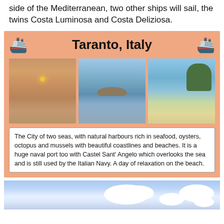side of the Mediterranean, two other ships will sail, the twins Costa Luminosa and Costa Deliziosa.
Taranto, Italy
[Figure (photo): Three photos of Taranto, Italy: a sunset over calm water, a boat/wreck in blue waters, and a beach with clear turquoise water and green trees]
The City of two seas, with natural harbours rich in seafood, oysters, octopus and mussels with beautiful coastlines and beaches. It is a huge naval port too with Castel Sant' Angelo which overlooks the sea and is still used by the Italian Navy. A day of relaxation on the beach.
[Figure (photo): Partially visible photo of sky with clouds at the bottom of the page]